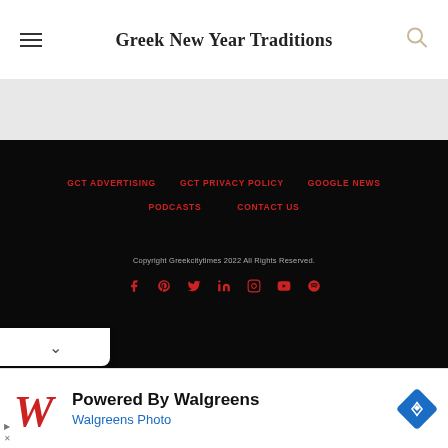Greek New Year Traditions
GCT ADVERTISING · GCT PRIVACY POLICY · GOOGLE NEWS · PODCASTS · CONTACT US · Copyright Greekcitytimes 2022 All Rights Reserved.
[Figure (screenshot): Advertisement banner: Powered By Walgreens - Walgreens Photo with Walgreens logo and navigation arrow icon]